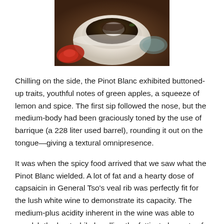[Figure (photo): A white bowl of food (appears to be a braised or spiced dish) photographed from above, with a side item visible at the bottom left, set on a dark wooden surface.]
Chilling on the side, the Pinot Blanc exhibited buttoned-up traits, youthful notes of green apples, a squeeze of lemon and spice. The first sip followed the nose, but the medium-body had been graciously toned by the use of barrique (a 228 liter used barrel), rounding it out on the tongue—giving a textural omnipresence.
It was when the spicy food arrived that we saw what the Pinot Blanc wielded. A lot of fat and a hearty dose of capsaicin in General Tso's veal rib was perfectly fit for the lush white wine to demonstrate its capacity. The medium-plus acidity inherent in the wine was able to squelch the heat while handling the fattiest elements of the entree.